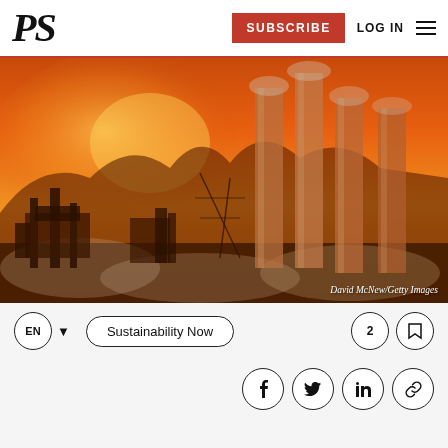PS | SUBSCRIBE | LOG IN
[Figure (photo): Industrial smokestacks silhouetted against a vivid orange sunset sky, with smog and steam visible. Credit: David McNew/Getty Images]
David McNew/Getty Images
EN  Sustainability Now
Social share icons: Facebook, Twitter, LinkedIn, Link